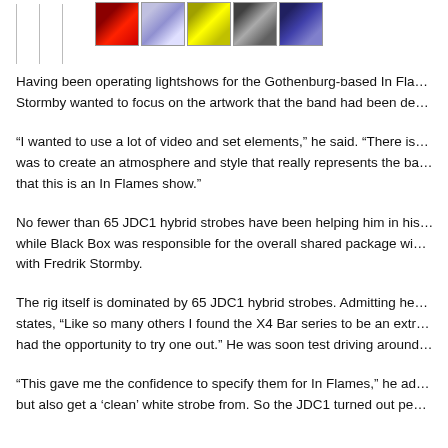[Figure (photo): Navigation lines and a strip of 5 thumbnail photos at the top of the page showing concert lighting effects]
Having been operating lightshows for the Gothenburg-based In Fla... Stormby wanted to focus on the artwork that the band had been de...
“I wanted to use a lot of video and set elements,” he said. “There is... was to create an atmosphere and style that really represents the ba... that this is an In Flames show.”
No fewer than 65 JDC1 hybrid strobes have been helping him in hi... while Black Box was responsible for the overall shared package wi... with Fredrik Stormby.
The rig itself is dominated by 65 JDC1 hybrid strobes. Admitting he... states, “Like so many others I found the X4 Bar series to be an extr... had the opportunity to try one out.” He was soon test driving around...
“This gave me the confidence to specify them for In Flames,” he ad... but also get a ‘clean’ white strobe from. So the JDC1 turned out pe...